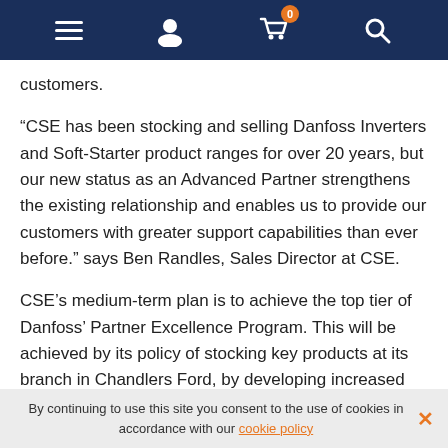Navigation bar with hamburger menu, user icon, shopping cart (0 items), and search icon
customers.
“CSE has been stocking and selling Danfoss Inverters and Soft-Starter product ranges for over 20 years, but our new status as an Advanced Partner strengthens the existing relationship and enables us to provide our customers with greater support capabilities than ever before.” says Ben Randles, Sales Director at CSE.
CSE’s medium-term plan is to achieve the top tier of Danfoss’ Partner Excellence Program. This will be achieved by its policy of stocking key products at its branch in Chandlers Ford, by developing increased Technical and Service capability within our teams, and by building on existing customer relationships as well as developing new
By continuing to use this site you consent to the use of cookies in accordance with our cookie policy ×